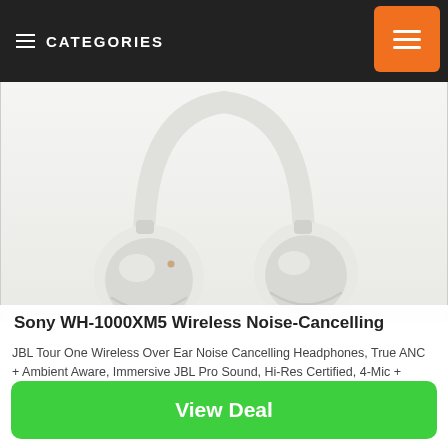CATEGORIES
[Figure (photo): Sony WH-1000XM5 white wireless noise-cancelling headphones, close-up view of the earcup and headband against a light grey background]
Sony WH-1000XM5 Wireless Noise-Cancelling
JBL Tour One Wireless Over Ear Noise Cancelling Headphones, True ANC + Ambient Aware, Immersive JBL Pro Sound, Hi-Res Certified, 4-Mic + TalkThru Technology, 50H Battery – Black, JBLTOURONEBLK
View Deal